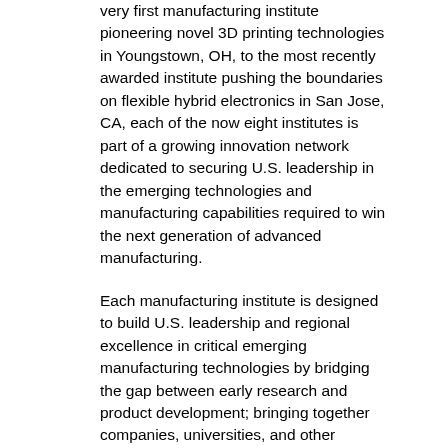very first manufacturing institute pioneering novel 3D printing technologies in Youngstown, OH, to the most recently awarded institute pushing the boundaries on flexible hybrid electronics in San Jose, CA, each of the now eight institutes is part of a growing innovation network dedicated to securing U.S. leadership in the emerging technologies and manufacturing capabilities required to win the next generation of advanced manufacturing.
Each manufacturing institute is designed to build U.S. leadership and regional excellence in critical emerging manufacturing technologies by bridging the gap between early research and product development; bringing together companies, universities, and other academic and training institutions, and Federal agencies to co-invest in key technology areas that can encourage investment and production in the United States while serving as a 'teaching factory' for workers, small businesses, and entrepreneurs looking to develop new skills or prototype new products and processes.
The Revolutionary Fibers and Textiles Manufacturing Innovation Institute being announced today is the eighth institute awarded to date.
Already, these investments are generating wins for U.S. manufacturing, including -